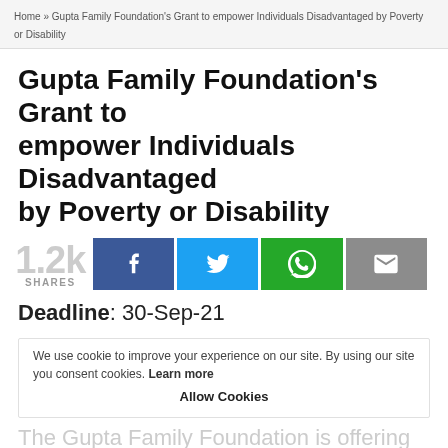Home » Gupta Family Foundation's Grant to empower Individuals Disadvantaged by Poverty or Disability
Gupta Family Foundation's Grant to empower Individuals Disadvantaged by Poverty or Disability
1.2k SHARES [social share buttons: Facebook, Twitter, WhatsApp, Email]
Deadline: 30-Sep-21
We use cookie to improve your experience on our site. By using our site you consent cookies. Learn more
Allow Cookies
The Gupta Family Foundation is offering
Grants to uplifting and empowering individuals
disadvantaged by poverty or disability, or by